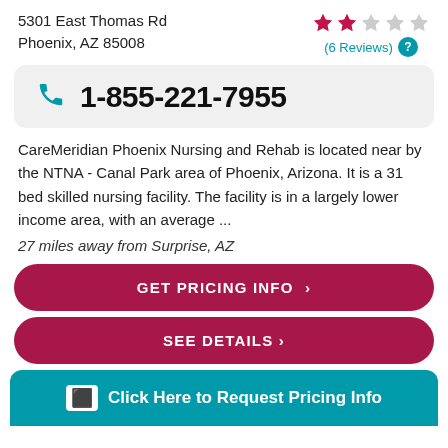5301 East Thomas Rd
Phoenix, AZ 85008
[Figure (infographic): Star rating showing 2 filled pink/red stars and 3 empty gray stars, with '(6 Reviews)' link and a teal question mark circle]
1-855-221-7955
CareMeridian Phoenix Nursing and Rehab is located near by the NTNA - Canal Park area of Phoenix, Arizona. It is a 31 bed skilled nursing facility. The facility is in a largely lower income area, with an average ...
27 miles away from Surprise, AZ
GET PRICING INFO ›
SEE DETAILS ›
Click Here to Request Pricing Info